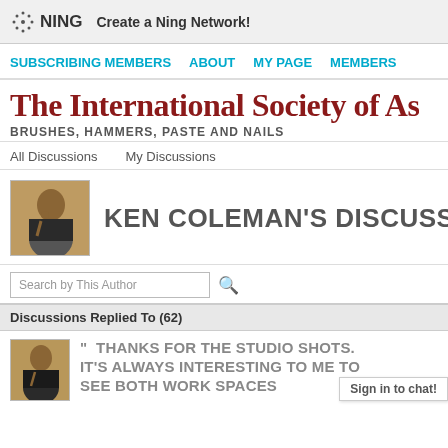NING — Create a Ning Network!
SUBSCRIBING MEMBERS   ABOUT   MY PAGE   MEMBERS
The International Society of As...
BRUSHES, HAMMERS, PASTE AND NAILS
All Discussions   My Discussions
KEN COLEMAN'S DISCUSSIO...
Search by This Author
Discussions Replied To (62)
" THANKS FOR THE STUDIO SHOTS. IT'S ALWAYS INTERESTING TO ME TO SEE BOTH WORK SPACES
Sign in to chat!